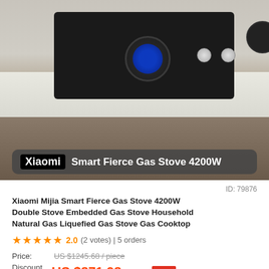[Figure (photo): Product photo of Xiaomi smart gas stove cooktop on kitchen counter with wood cabinet below. Black glass gas hob with two burners and control knobs visible.]
Xiaomi Smart Fierce Gas Stove 4200W
ID: 79876
Xiaomi Mijia Smart Fierce Gas Stove 4200W Double Stove Embedded Gas Stove Household Natural Gas Liquefied Gas Stove Gas Cooktop
★★★★★ 2.0 (2 votes) | 5 orders
Price: US $1245.68 / piece
Discount Price: US $871.98 / piece -30%